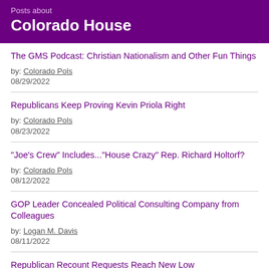Posts about
Colorado House
The GMS Podcast: Christian Nationalism and Other Fun Things
by: Colorado Pols
08/29/2022
Republicans Keep Proving Kevin Priola Right
by: Colorado Pols
08/23/2022
"Joe's Crew" Includes..."House Crazy" Rep. Richard Holtorf?
by: Colorado Pols
08/12/2022
GOP Leader Concealed Political Consulting Company from Colleagues
by: Logan M. Davis
08/11/2022
Republican Recount Requests Reach New Low